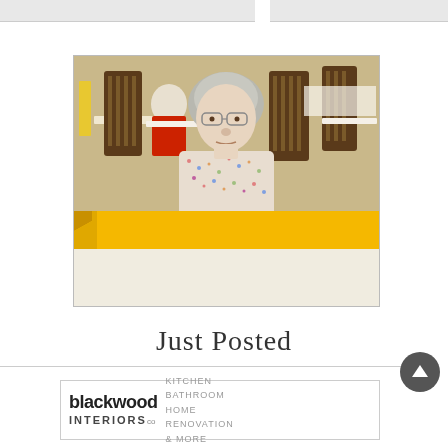[Figure (photo): An elderly woman with gray hair and glasses sitting at a table in what appears to be a dining room or cafe setting, wearing a floral blouse. A yellow banner strip overlays the lower portion of the photo. Another person in a red top is visible in the background. Dark wooden chairs are visible around tables.]
Just Posted
[Figure (logo): Blackwood Interiors Co. logo with tagline: Kitchen Bathroom Home Renovation & More]